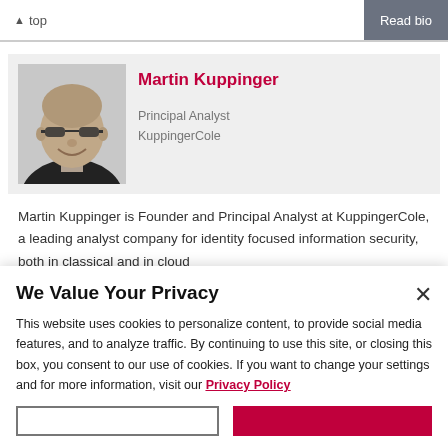top | Read bio
[Figure (photo): Black and white portrait photo of Martin Kuppinger, a bald man wearing glasses and dark clothing, smiling]
Martin Kuppinger
Principal Analyst
KuppingerCole
Martin Kuppinger is Founder and Principal Analyst at KuppingerCole, a leading analyst company for identity focused information security, both in classical and in cloud
We Value Your Privacy
This website uses cookies to personalize content, to provide social media features, and to analyze traffic. By continuing to use this site, or closing this box, you consent to our use of cookies. If you want to change your settings and for more information, visit our Privacy Policy